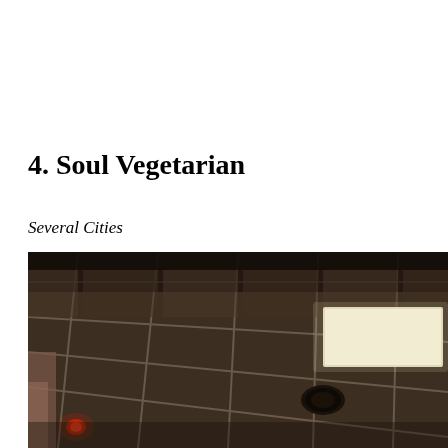4. Soul Vegetarian
Several Cities
[Figure (photo): Interior photo looking up at a drop ceiling with square acoustic tiles in a brown/dark color, grid framework visible, a rectangular fluorescent light panel on the right side, a recessed dark circular fixture, and a small red light visible in the lower left corner of the frame.]